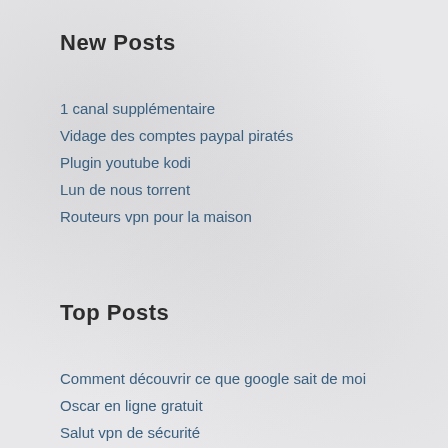New Posts
1 canal supplémentaire
Vidage des comptes paypal piratés
Plugin youtube kodi
Lun de nous torrent
Routeurs vpn pour la maison
Top Posts
Comment découvrir ce que google sait de moi
Oscar en ligne gratuit
Salut vpn de sécurité